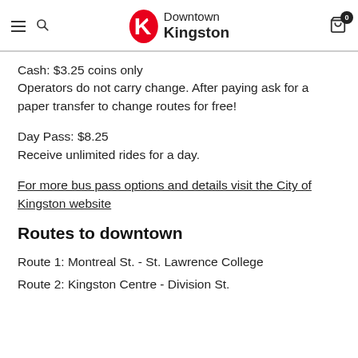Downtown Kingston
Cash: $3.25 coins only
Operators do not carry change. After paying ask for a paper transfer to change routes for free!
Day Pass: $8.25
Receive unlimited rides for a day.
For more bus pass options and details visit the City of Kingston website
Routes to downtown
Route 1: Montreal St. - St. Lawrence College
Route 2: Kingston Centre - Division St.